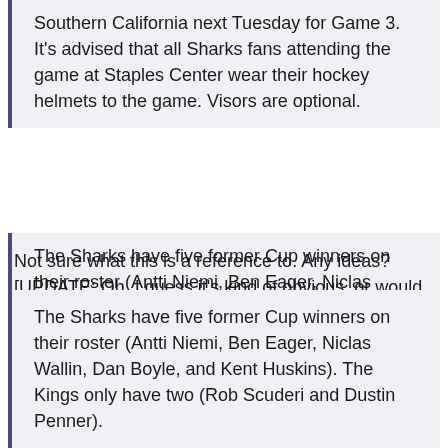Southern California next Tuesday for Game 3. It's advised that all Sharks fans attending the game at Staples Center wear their hockey helmets to the game. Visors are optional.
Not sure what this is a reference to. Any ideas? [UPDATE: Oh. I guess it's kind of obvious, or would have been, had I been thinking along the lines of "attempted murder" rather than "Sharks fans think Kings fans are dicks." There's a link to this sickening story in the comments, for anyone else who missed the reference.]
The Sharks have five former Cup winners on their roster (Antti Niemi, Ben Eager, Niclas Wallin, Dan Boyle, and Kent Huskins). The Kings only have two (Rob Scuderi and Dustin Penner).